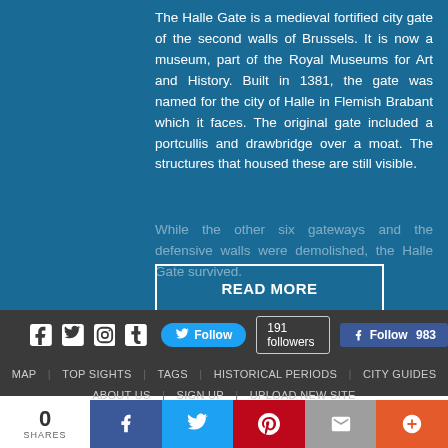The Halle Gate is a medieval fortified city gate of the second walls of Brussels. It is now a museum, part of the Royal Museums for Art and History. Built in 1381, the gate was named for the city of Halle in Flemish Brabant which it faces. The original gate included a portcullis and drawbridge over a moat. The structures that housed these are still visible.
While the other six gateways and the defensive walls were demolished, the Halle Gate survived.
READ MORE
MAP  TOP SIGHTS  TAGS  HISTORICAL PERIODS  CITY GUIDES  ABOUT US  SIGN UP  UPLOAD NEW SITE
0 SHARES